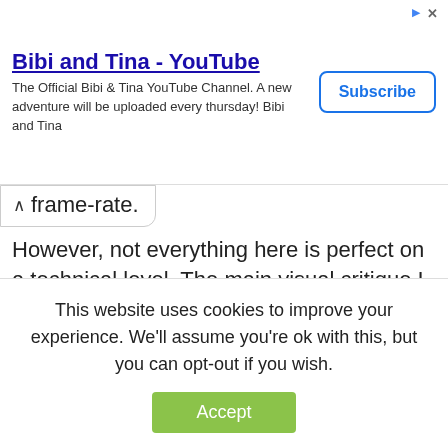[Figure (screenshot): YouTube advertisement banner for 'Bibi and Tina' channel with Subscribe button and ad icons]
frame-rate.
However, not everything here is perfect on a technical level. The main visual critique I have with this game stems from the movement and animation – a problem shared with the first Fire Emblem Warriors. Basically, there's a large bounding box in which the character can run around, which results in movement that feels weightless. Additionally, the running animation
This website uses cookies to improve your experience. We'll assume you're ok with this, but you can opt-out if you wish.